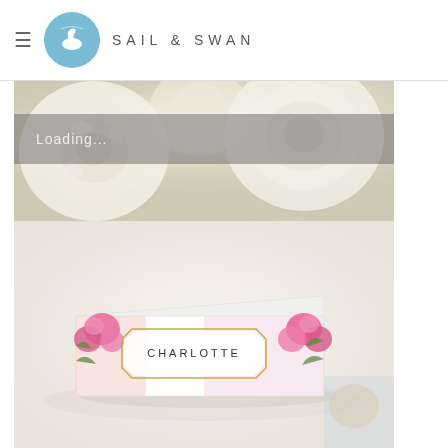SAIL & SWAN
[Figure (photo): Website screenshot showing Sail & Swan brand header with circular blue swan logo, hamburger menu icon, and brand name 'SAIL & SWAN' in spaced lettering. Below is a product photo showing a floral place card with 'CHARLOTTE' printed on it, surrounded by pink and white flowers. A 'Loading...' overlay bar is visible over the top flower image.]